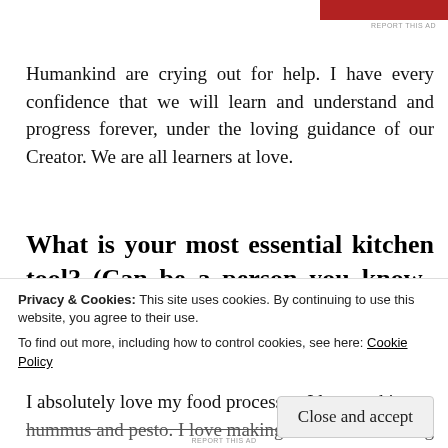[Figure (other): Red advertisement banner bar at top of page]
REPORT THIS AD
Humankind are crying out for help. I have every confidence that we will learn and understand and progress forever, under the loving guidance of our Creator. We are all learners at love.
What is your most essential kitchen tool? (Can be a person you know.  For the non-cooks in the crowd).
I absolutely love my food processor. I love making hummus and pesto. I love making coleslaw and being able
Privacy & Cookies: This site uses cookies. By continuing to use this website, you agree to their use.
To find out more, including how to control cookies, see here: Cookie Policy
Close and accept
REPORT THIS AD